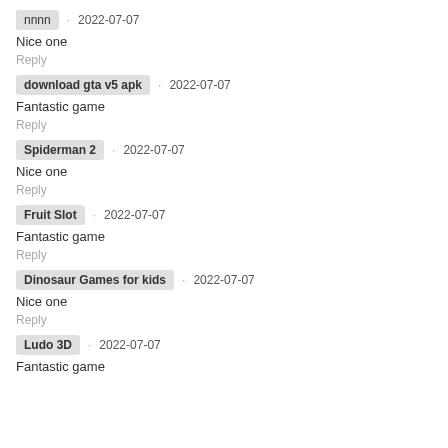nnnn · 2022-07-07
Nice one
Reply
download gta v5 apk · 2022-07-07
Fantastic game
Reply
Spiderman 2 · 2022-07-07
Nice one
Reply
Fruit Slot · 2022-07-07
Fantastic game
Reply
Dinosaur Games for kids · 2022-07-07
Nice one
Reply
Ludo 3D · 2022-07-07
Fantastic game